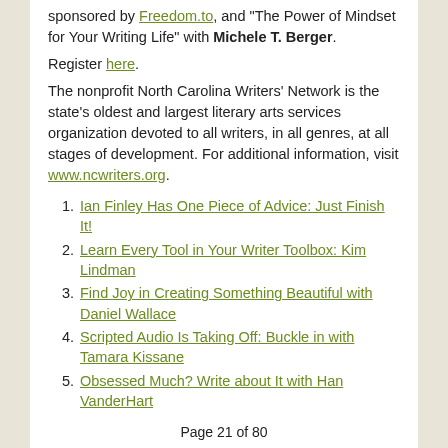sponsored by Freedom.to, and "The Power of Mindset for Your Writing Life" with Michele T. Berger.
Register here.
The nonprofit North Carolina Writers' Network is the state's oldest and largest literary arts services organization devoted to all writers, in all genres, at all stages of development. For additional information, visit www.ncwriters.org.
Ian Finley Has One Piece of Advice: Just Finish It!
Learn Every Tool in Your Writer Toolbox: Kim Lindman
Find Joy in Creating Something Beautiful with Daniel Wallace
Scripted Audio Is Taking Off: Buckle in with Tamara Kissane
Obsessed Much? Write about It with Han VanderHart
Page 21 of 80